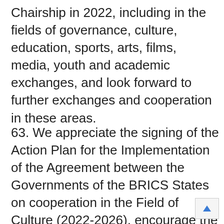Chairship in 2022, including in the fields of governance, culture, education, sports, arts, films, media, youth and academic exchanges, and look forward to further exchanges and cooperation in these areas.
63. We appreciate the signing of the Action Plan for the Implementation of the Agreement between the Governments of the BRICS States on cooperation in the Field of Culture (2022-2026), encourage the BRICS countries to promote the development of digitalization in the field of culture, continue to deepen cooperation in the fields of, inter alia, arts and culture, cultural heritage, cultural industry and cultural